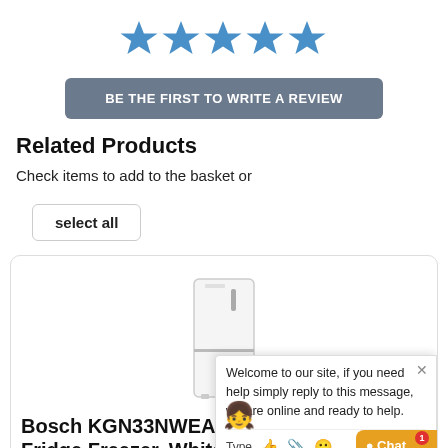[Figure (illustration): Five blue star rating icons displayed in a row, all filled/selected]
BE THE FIRST TO WRITE A REVIEW
Related Products
Check items to add to the basket or
select all
[Figure (photo): Bosch white fridge freezer product image]
Bosch KGN33NWEAG Serie 2 Frost Free Fridge Freezer, White